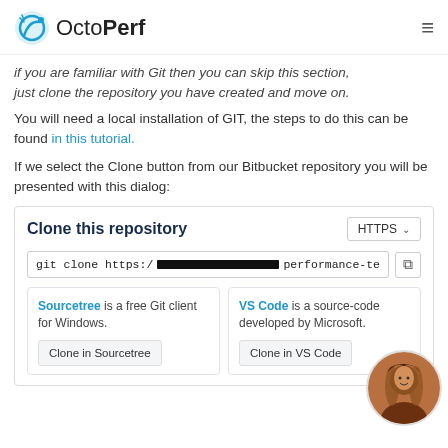OctoPerf
if you are familiar with Git then you can skip this section, just clone the repository you have created and move on.
You will need a local installation of GIT, the steps to do this can be found in this tutorial.
If we select the Clone button from our Bitbucket repository you will be presented with this dialog:
[Figure (screenshot): Clone this repository dialog from Bitbucket showing HTTPS option, git clone command with redacted URL ending in 'performance-te', and two client options: Sourcetree (free Git client for Windows) with Clone in Sourcetree button, and VS Code (source-code editor developed by Microsoft) with Clone in VS Code button.]